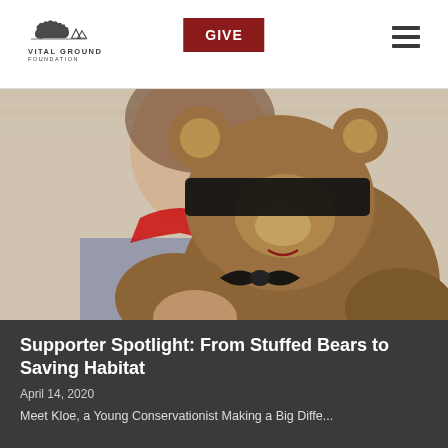VITAL GROUND FOUNDATION — GIVE
[Figure (photo): A young girl hugging a large brown stuffed bear toy with a black bow/blindfold around its eyes and a red scarf. The image is close-up showing the girl's face partially visible and the stuffed bear prominently in the foreground.]
Supporter Spotlight: From Stuffed Bears to Saving Habitat
April 14, 2020
Meet Kloe, a Young Conservationist Making a Big Difference By Tutoring My Grandally Conservation...